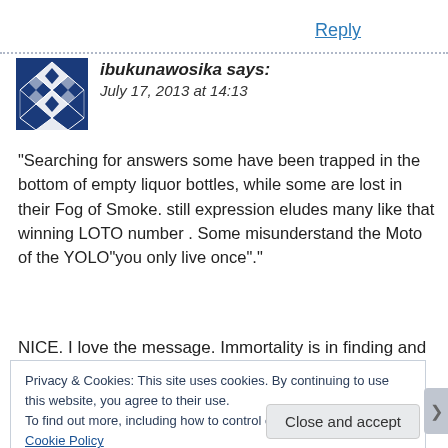Reply
[Figure (illustration): Blue and white diamond quilt pattern avatar icon]
ibukunawosika says:
July 17, 2013 at 14:13
“Searching for answers some have been trapped in the bottom of empty liquor bottles, while some are lost in their Fog of Smoke. still expression eludes many like that winning LOTO number . Some misunderstand the Moto of the YOLO”you only live once”.”
NICE. I love the message. Immortality is in finding and living
Privacy & Cookies: This site uses cookies. By continuing to use this website, you agree to their use.
To find out more, including how to control cookies, see here: Cookie Policy
Close and accept